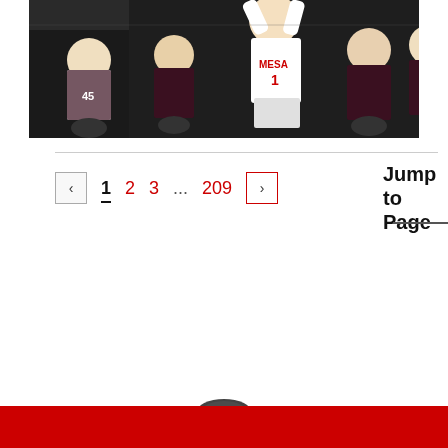[Figure (photo): Volleyball player wearing #1 jersey labeled 'MESA' in white uniform mid-serve/spike, with teammates in dark patterned uniforms seated on bench in background]
< 1 2 3 ... 209 > Jump to Page
[Figure (logo): School or organization logo at bottom center, partially visible above red footer bar]
Red footer bar at bottom of page